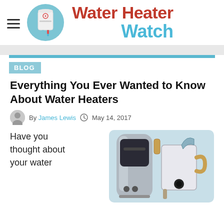[Figure (logo): Water Heater Watch website header logo with hamburger menu icon, circular water heater icon on teal background, and brand name 'Water Heater Watch' in red and blue bold text]
BLOG
Everything You Ever Wanted to Know About Water Heaters
By James Lewis  May 14, 2017
Have you thought about your water
[Figure (illustration): Illustration of two water heaters side by side: a tall modern tankless/storage unit on the left and a traditional tank water heater with pipes on the right, on a light blue background]